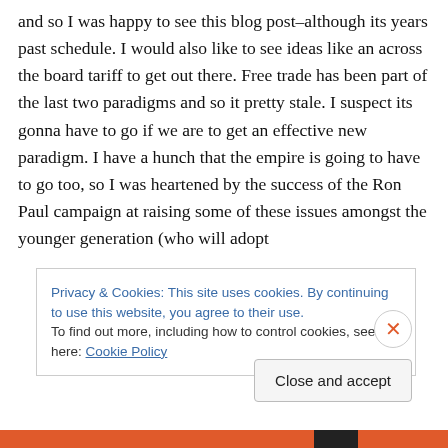and so I was happy to see this blog post–although its years past schedule. I would also like to see ideas like an across the board tariff to get out there. Free trade has been part of the last two paradigms and so it pretty stale. I suspect its gonna have to go if we are to get an effective new paradigm. I have a hunch that the empire is going to have to go too, so I was heartened by the success of the Ron Paul campaign at raising some of these issues amongst the younger generation (who will adopt
Privacy & Cookies: This site uses cookies. By continuing to use this website, you agree to their use.
To find out more, including how to control cookies, see here: Cookie Policy
Close and accept